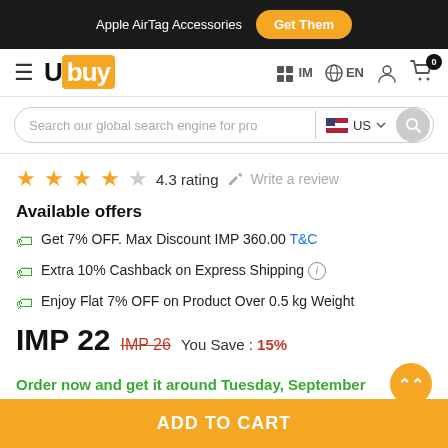Apple AirTag Accessories  Get Them
[Figure (logo): Ubuy logo with orange box and hamburger menu]
Search our global search engine for pro  US
4.3 rating  Write a review
Available offers
Get 7% OFF. Max Discount IMP 360.00 T&C
Extra 10% Cashback on Express Shipping
Enjoy Flat 7% OFF on Product Over 0.5 kg Weight
IMP 22  IMP 26  You Save : 15%
Order now and get it around Tuesday, September
Color
ADD TO CART